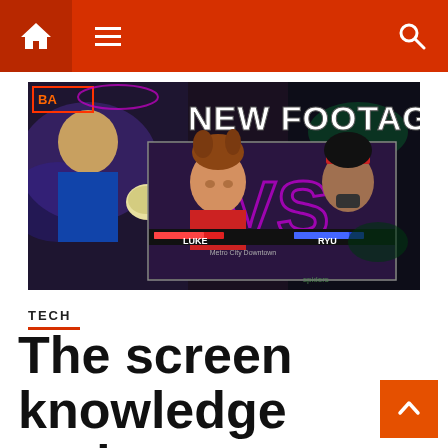Navigation header with home, menu, and search icons
[Figure (screenshot): Street Fighter 6 screenshot showing Luke vs Ryu in Metro City Downtown, with 'NEW FOOTAGE' text overlay in bold comic style]
TECH
The screen knowledge and